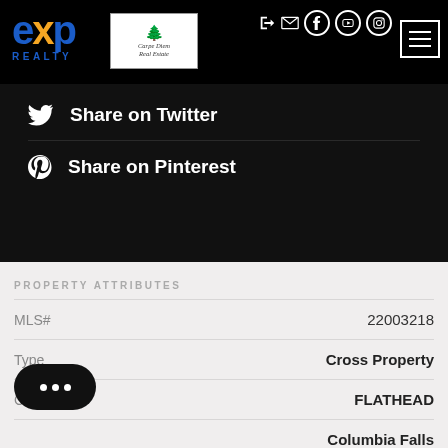[Figure (logo): eXp Realty logo in blue and orange on black background]
[Figure (logo): Carpe Diem Real Estate logo in white box with tree illustration]
[Figure (infographic): Header icons: login, mail, Facebook, YouTube, Instagram circles and hamburger menu]
Share on Twitter
Share on Pinterest
PROPERTY ATTRIBUTES
| Attribute | Value |
| --- | --- |
| MLS# | 22003218 |
| Type | Cross Property |
| County | FLATHEAD |
|  | Columbia Falls |
| Neighborhood | Meadow Lake |